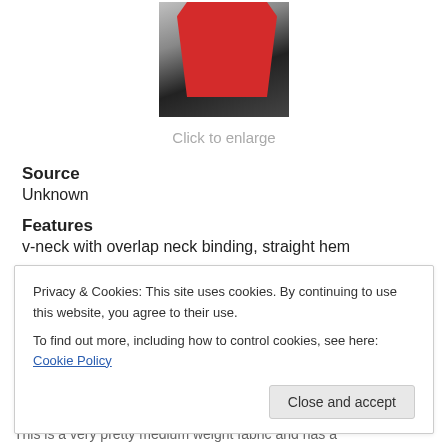[Figure (photo): Photo of a red top/shirt on a hanger against a dark background]
Click to enlarge
Source
Unknown
Features
v-neck with overlap neck binding, straight hem
Privacy & Cookies: This site uses cookies. By continuing to use this website, you agree to their use.
To find out more, including how to control cookies, see here: Cookie Policy
Close and accept
This is a very pretty medium weight fabric and has a